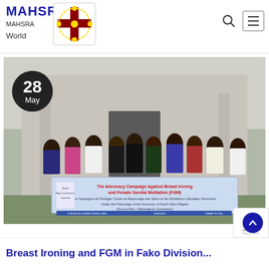MAHSRA
MAHSRA
World
[Figure (photo): Group photo of approximately 25 people standing in front of a building holding a banner that reads 'The Advocacy Campaign Against Breast Ironing and Female Genital Mutilation (FGM)'. The banner also mentions British High Commission and the Governor of South West Region. Date badge shows '28 May'.]
Breast Ironing and FGM in Fako Division...